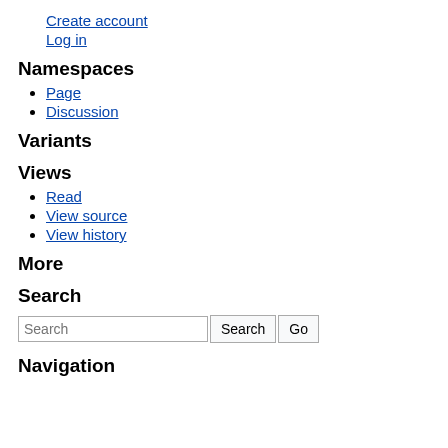Create account
Log in
Namespaces
Page
Discussion
Variants
Views
Read
View source
View history
More
Search
Navigation